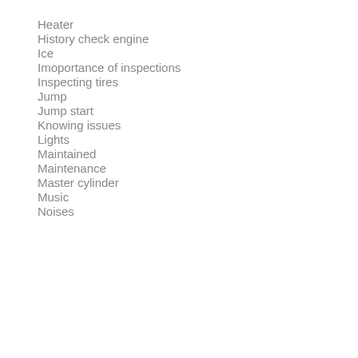Heater
History check engine
Ice
Imoportance of inspections
Inspecting tires
Jump
Jump start
Knowing issues
Lights
Maintained
Maintenance
Master cylinder
Music
Noises